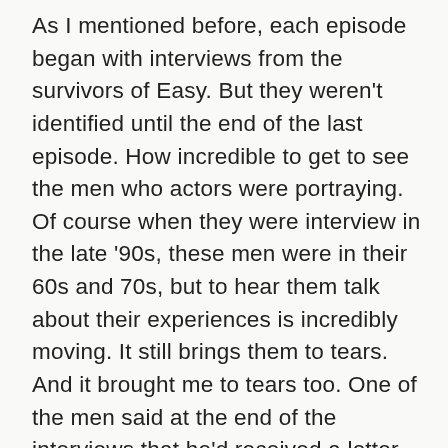As I mentioned before, each episode began with interviews from the survivors of Easy. But they weren't identified until the end of the last episode. How incredible to get to see the men who actors were portraying. Of course when they were interview in the late '90s, these men were in their 60s and 70s, but to hear them talk about their experiences is incredibly moving. It still brings them to tears. And it brought me to tears too. One of the men said at the end of the interviews that he'd received a letter from one of the other men in Easy. In the letter he wrote that his grandson had asked if he was a hero in the